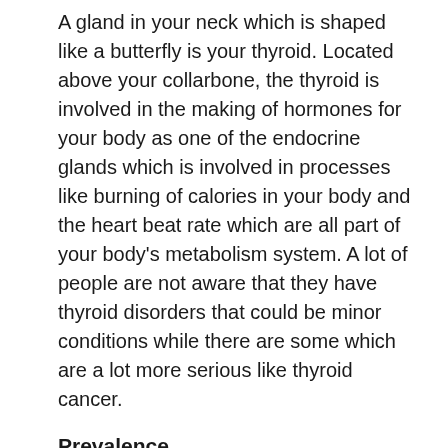A gland in your neck which is shaped like a butterfly is your thyroid. Located above your collarbone, the thyroid is involved in the making of hormones for your body as one of the endocrine glands which is involved in processes like burning of calories in your body and the heart beat rate which are all part of your body's metabolism system. A lot of people are not aware that they have thyroid disorders that could be minor conditions while there are some which are a lot more serious like thyroid cancer.
Prevalence
Thyroid problems can occur to anyone especially adults. However, it can happen to children as well. There are a few types of diseases related to thyroid disorders. This include goiter which is when the thyroid gland is enlarged. Meanwhile, hyperthyroidism is a common disease among